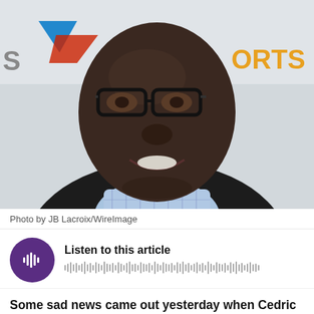[Figure (photo): Headshot photo of a smiling Black man wearing glasses, a dark blazer, and a blue plaid shirt. Background shows a banner with a Delta Airlines logo and partial text 'ORTS' in orange/gold letters.]
Photo by JB Lacroix/WireImage
[Figure (infographic): Audio player widget with purple circular play button showing waveform icon, text 'Listen to this article', and a horizontal audio waveform visualization bar.]
Some sad news came out yesterday when Cedri